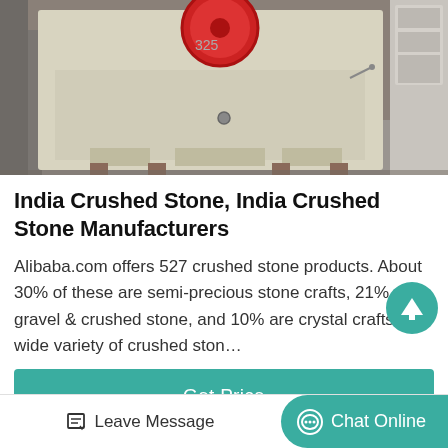[Figure (photo): Industrial stone crusher machine — cream/beige colored metal body with red flywheel, sitting on a factory floor. Shot from front/slightly above showing the feed hopper area.]
India Crushed Stone, India Crushed Stone Manufacturers
Alibaba.com offers 527 crushed stone products. About 30% of these are semi-precious stone crafts, 21% are gravel & crushed stone, and 10% are crystal crafts. A wide variety of crushed ston…
Get Price
[Figure (photo): Partial view of another industrial machine — orange/red colored cylindrical component visible at bottom of page.]
Leave Message
Chat Online